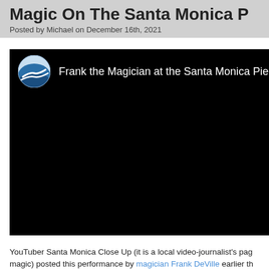Magic On The Santa Monica P
Posted by Michael on December 16th, 2021
[Figure (screenshot): YouTube video embed showing 'Frank the Magician at the Santa Monica Pier' with a circular channel icon featuring a blue wave/road logo on a black background.]
YouTuber Santa Monica Close Up (it is a local video-journalist's page magic) posted this performance by magician Frank DeVille earlier th